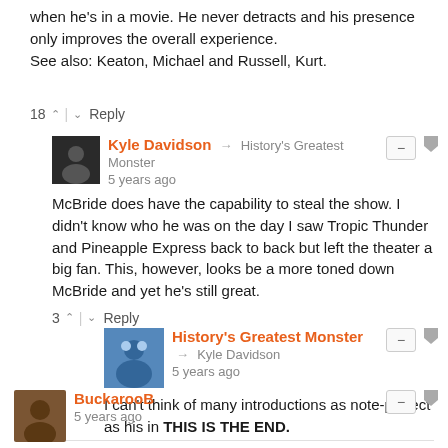when he's in a movie. He never detracts and his presence only improves the overall experience.
See also: Keaton, Michael and Russell, Kurt.
18 ^ | v Reply
Kyle Davidson → History's Greatest Monster
5 years ago
McBride does have the capability to steal the show. I didn't know who he was on the day I saw Tropic Thunder and Pineapple Express back to back but left the theater a big fan. This, however, looks be a more toned down McBride and yet he's still great.
3 ^ | v Reply
History's Greatest Monster → Kyle Davidson
5 years ago
I can't think of many introductions as note-perfect as his in THIS IS THE END.
5 ^ | v Reply
BuckarooB
5 years ago
Confirmed: Blazing Saddles is part of the Aliens continuity and